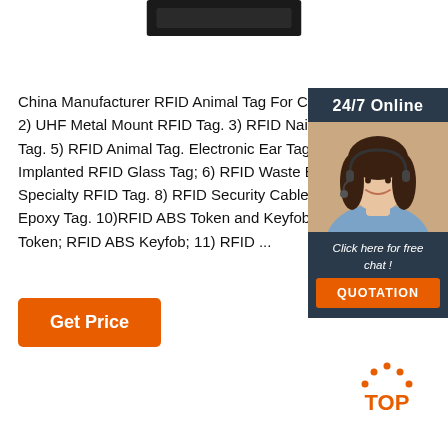[Figure (photo): Dark rectangular object (RFID reader/device) at the top center of the page]
China Manufacturer RFID Animal Tag For Cows,Pig 2) UHF Metal Mount RFID Tag. 3) RFID Nail Tag. 4) Tag. 5) RFID Animal Tag. Electronic Ear Tag; RFID Implanted RFID Glass Tag; 6) RFID Waste Bin Tag . Specialty RFID Tag. 8) RFID Security Cable Seal Ta Epoxy Tag. 10)RFID ABS Token and Keyfob. RFID A Token; RFID ABS Keyfob; 11) RFID ...
[Figure (photo): 24/7 Online chat widget with female agent wearing headset, dark blue background, orange QUOTATION button]
[Figure (other): Orange 'Get Price' button]
[Figure (other): Orange TOP navigation button with dotted arc above text]